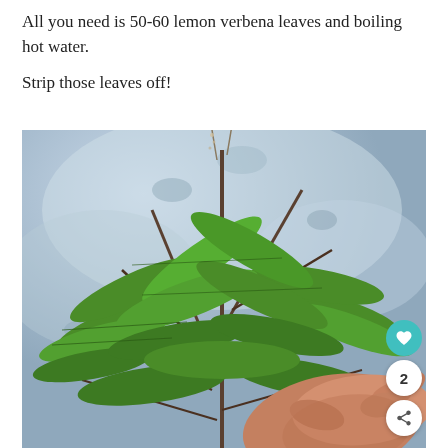All you need is 50-60 lemon verbena leaves and boiling hot water.
Strip those leaves off!
[Figure (photo): A hand holding a large bunch of fresh green lemon verbena branches with long serrated leaves, held up against a mottled blue-grey stone or concrete background. Social sharing icons are visible in the lower right corner: a teal heart icon, a white circle with the number 2, and a white share icon.]